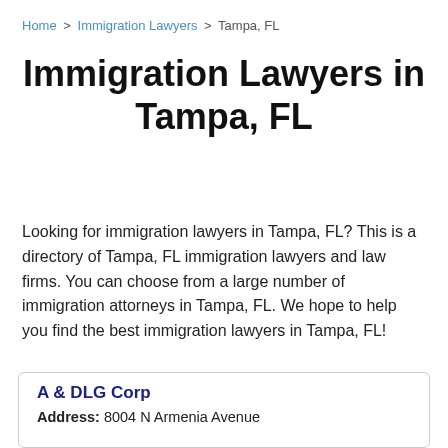Home > Immigration Lawyers > Tampa, FL
Immigration Lawyers in Tampa, FL
Looking for immigration lawyers in Tampa, FL? This is a directory of Tampa, FL immigration lawyers and law firms. You can choose from a large number of immigration attorneys in Tampa, FL. We hope to help you find the best immigration lawyers in Tampa, FL!
A & DLG Corp
Address: 8004 N Armenia Avenue